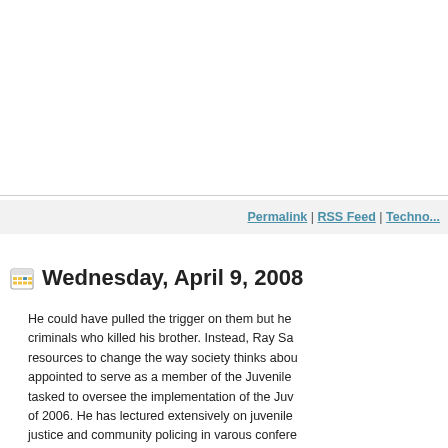Permalink | RSS Feed | Techno...
Wednesday, April 9, 2008
He could have pulled the trigger on them but he criminals who killed his brother. Instead, Ray Sa resources to change the way society thinks abou appointed to serve as a member of the Juvenile tasked to oversee the implementation of the Juv of 2006. He has lectured extensively on juvenile justice and community policing in varous confere as well as in international conferences in Japan, Estonia, Germany, Finland, Scotland and India. UNICEF New York to participate in a forum to de what we could consider passion of his, stemmed experience, which could otherwise have been a become a mission for the greater good.